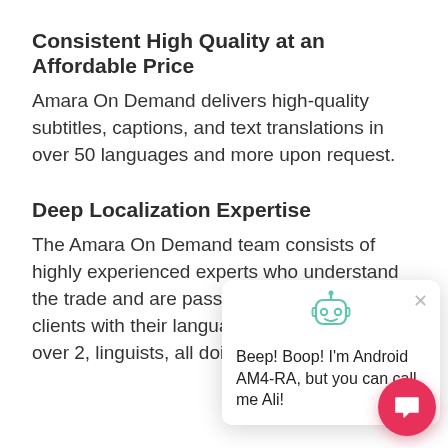Consistent High Quality at an Affordable Price
Amara On Demand delivers high-quality subtitles, captions, and text translations in over 50 languages and more upon request.
Deep Localization Expertise
The Amara On Demand team consists of highly experienced experts who understand the trade and are passionate about helping clients with their language needs. A team of over 2, linguists, all doing trans language.
Beep! Boop! I'm Android AM4-RA, but you can call me Ali!
Automated Delivery Options and Multiple Formats
Amara On Demand delivers completed subtitles a variety of formats directly to YouTube, Vimeo, and